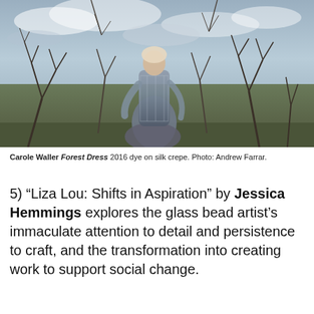[Figure (photo): A woman in an elaborate patterned dress (Forest Dress) stands outdoors among bare winter tree branches with a cloudy sky background.]
Carole Waller Forest Dress 2016 dye on silk crepe. Photo: Andrew Farrar.
5) “Liza Lou: Shifts in Aspiration” by Jessica Hemmings explores the glass bead artist’s immaculate attention to detail and persistence to craft, and the transformation into creating work to support social change.